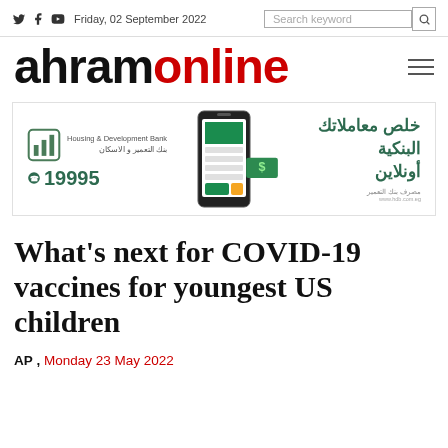Friday, 02 September 2022
ahramonline
[Figure (infographic): Advertisement for Housing & Development Bank showing bank logo, phone mockup with app, Arabic text for online banking, and phone number 19995]
What’s next for COVID-19 vaccines for youngest US children
AP , Monday 23 May 2022